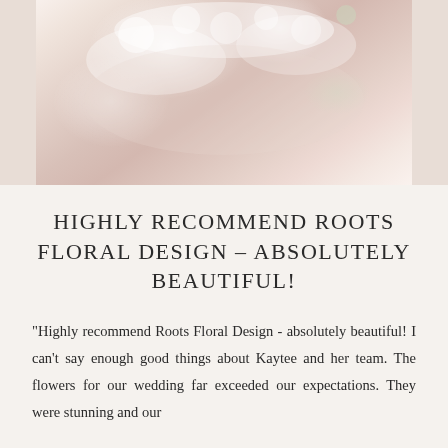[Figure (photo): Wedding photo showing a bride holding white floral bouquet, soft pastel tones with white dress/veil details]
HIGHLY RECOMMEND ROOTS FLORAL DESIGN – ABSOLUTELY BEAUTIFUL!
"Highly recommend Roots Floral Design - absolutely beautiful! I can't say enough good things about Kaytee and her team. The flowers for our wedding far exceeded our expectations. They were stunning and our